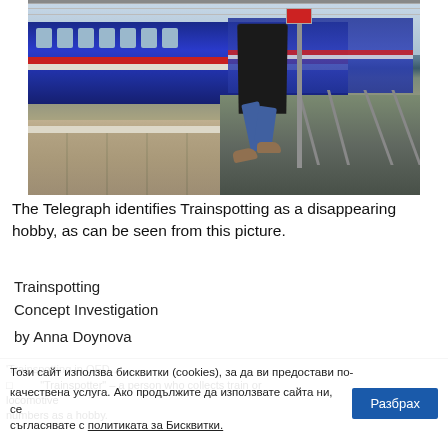[Figure (photo): A person on a train platform, bending forward to observe a blue and red passenger train. Railway tracks and overhead wires are visible. The photo illustrates trainspotting as a hobby.]
The Telegraph identifies Trainspotting as a disappearing hobby, as can be seen from this picture.
Trainspotting
Concept Investigation
by Anna Doynova
'Trainspotting in OED…
□  'Trainspotter' – a person who collects train or locomotive numbers as a hobby.
Този сайт използва бисквитки (cookies), за да ви предостави по-качествена услуга. Ако продължите да използвате сайта ни, се съгласявате с политиката за Бисквитки.